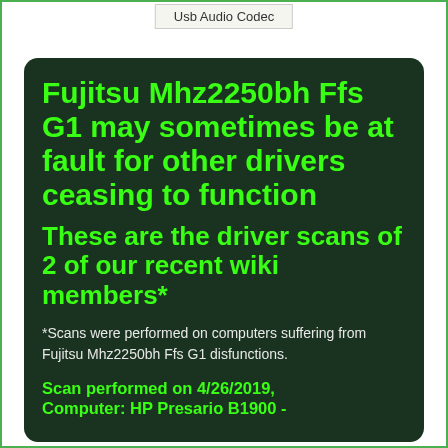Usb Audio Codec
Fujitsu Mhz2250bh Ffs G1 may sometimes be at fault for other drivers ceasing to function
These are the driver scans of 2 of our recent wiki members*
*Scans were performed on computers suffering from Fujitsu Mhz2250bh Ffs G1 disfunctions.
Scan performed on 4/26/2019, Computer: HP Presario B1900 -